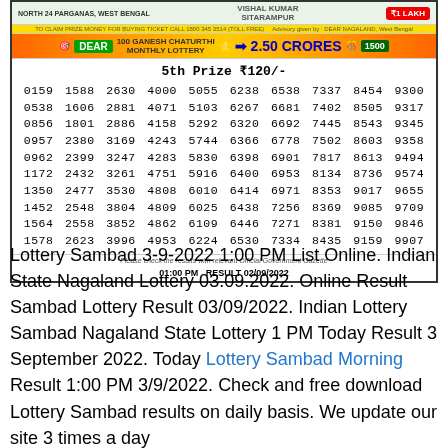[Figure (screenshot): Lottery Sambad Dear 2.50 Crores Monthly Lottery result ticket showing 5th Prize Rs 120 numbers, dated 02/09/2022 1:00 PM]
Lottery Sambad 3-9-2022 1:00 PM List Online. Indian State Nagaland Lottery 03.09.2022. Online Result Sambad Lottery Result 03/09/2022. Indian Lottery Sambad Nagaland State Lottery 1 PM Today Result 3 September 2022. Today Lottery Sambad Morning Result 1:00 PM 3/9/2022. Check and free download Lottery Sambad results on daily basis. We update our site 3 times a day